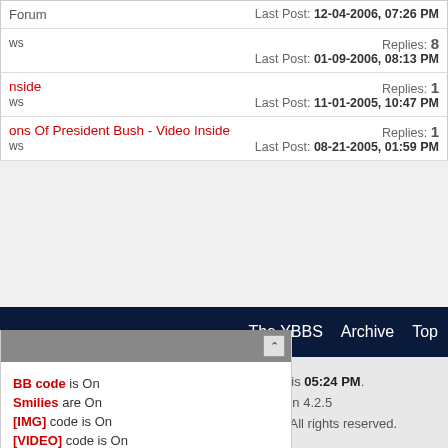| Forum/Thread | Stats |
| --- | --- |
| Forum | Last Post: 12-04-2006, 07:26 PM |
| ws | Replies: 8
Last Post: 01-09-2006, 08:13 PM |
| nside
ws | Replies: 1
Last Post: 11-01-2005, 10:47 PM |
| ons Of President Bush - Video Inside
ws | Replies: 1
Last Post: 08-21-2005, 01:59 PM |
BB code is On
Smilies are On
[IMG] code is On
[VIDEO] code is On
HTML code is Off
Forum Rules
The YBBS   Archive   Top
All times are GMT -4. The time now is 05:24 PM.
Powered by vBulletin® Version 4.2.5
Copyright © 2022 vBulletin Solutions Inc. All rights reserved.